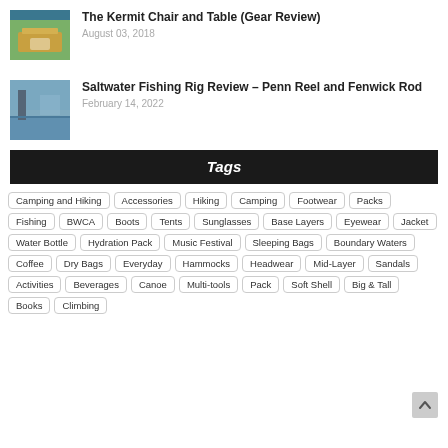[Figure (photo): Outdoor wooden chair and table on green grass]
The Kermit Chair and Table (Gear Review)
August 03, 2018
[Figure (photo): Water/dock outdoor fishing scene]
Saltwater Fishing Rig Review – Penn Reel and Fenwick Rod
February 14, 2022
Tags
Camping and Hiking
Accessories
Hiking
Camping
Footwear
Packs
Fishing
BWCA
Boots
Tents
Sunglasses
Base Layers
Eyewear
Jacket
Water Bottle
Hydration Pack
Music Festival
Sleeping Bags
Boundary Waters
Coffee
Dry Bags
Everyday
Hammocks
Headwear
Mid-Layer
Sandals
Activities
Beverages
Canoe
Multi-tools
Pack
Soft Shell
Big & Tall
Books
Climbing